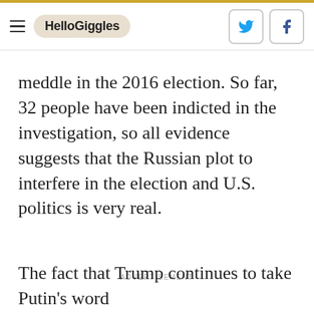HelloGiggles
meddle in the 2016 election. So far, 32 people have been indicted in the investigation, so all evidence suggests that the Russian plot to interfere in the election and U.S. politics is very real.
ADVERTISEMENT
The fact that Trump continues to take Putin's word